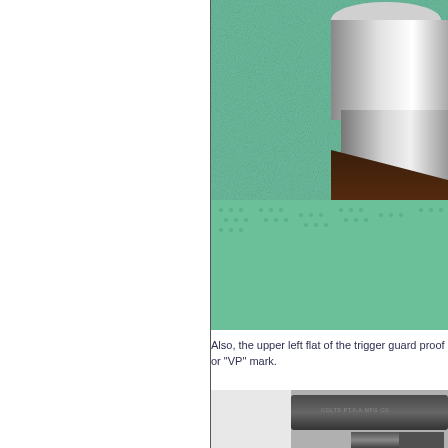[Figure (photo): Close-up photograph of a firearm mechanism (cylindrical metal parts with dark wooden grip) resting on a green textured surface/cloth]
Also, the upper left flat of the trigger guard proof or "VP" mark.
[Figure (photo): Close-up photograph of a Colt pistol showing the frame with 'COLTS PT.F.A.MFG CO' text engraved, with barrel visible]